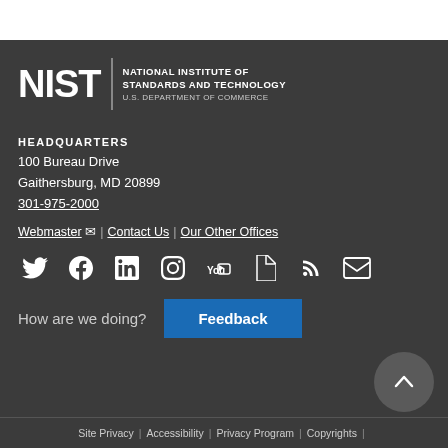[Figure (logo): NIST - National Institute of Standards and Technology, U.S. Department of Commerce logo in white on dark background]
HEADQUARTERS
100 Bureau Drive
Gaithersburg, MD 20899
301-975-2000
Webmaster | Contact Us | Our Other Offices
[Figure (infographic): Social media icons row: Twitter, Facebook, LinkedIn, Instagram, YouTube, GovDelivery, RSS, Email]
How are we doing?
Feedback
Site Privacy | Accessibility | Privacy Program | Copyrights |